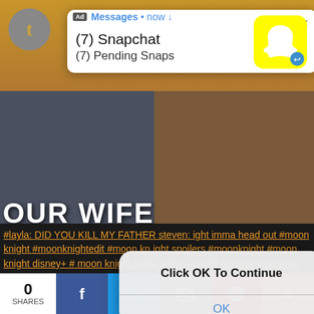[Figure (screenshot): Screenshot of a mobile phone screen showing a Tumblr page with multiple overlapping UI elements: an ad notification popup for Snapchat at the top, a dialog box saying 'Click OK To Continue' with an OK button in the middle, background video thumbnail text 'OUR WIFE' and 'YOUR WIFE', text about Moon Knight show, hashtag links, and a social share bar at the bottom.]
Ad  Messages • now ↓
(7) Snapchat
(7) Pending Snaps
Click OK To Continue
OK
OUR WIFE
Steven when Layla asks about her father
YOUR WIFE
#layla: DID YOU KILL MY FATHER steven: ight imma head out #moon knight #moonknightedit #moon knight spoilers #moonknight #moon knight disney+ #moon knight show #moon knight tv show #moon kn
0
SHARES